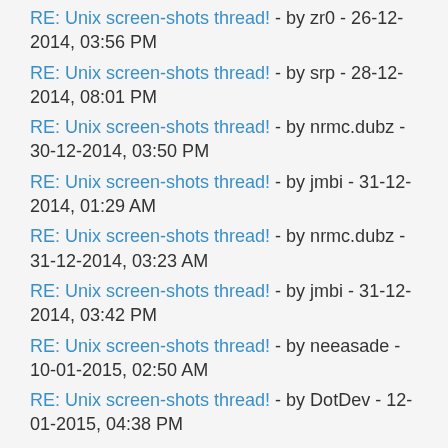RE: Unix screen-shots thread! - by zr0 - 26-12-2014, 03:56 PM
RE: Unix screen-shots thread! - by srp - 28-12-2014, 08:01 PM
RE: Unix screen-shots thread! - by nrmc.dubz - 30-12-2014, 03:50 PM
RE: Unix screen-shots thread! - by jmbi - 31-12-2014, 01:29 AM
RE: Unix screen-shots thread! - by nrmc.dubz - 31-12-2014, 03:23 AM
RE: Unix screen-shots thread! - by jmbi - 31-12-2014, 03:42 PM
RE: Unix screen-shots thread! - by neeasade - 10-01-2015, 02:50 AM
RE: Unix screen-shots thread! - by DotDev - 12-01-2015, 04:38 PM
RE: Unix screen-shots thread! - by LIESard - 16-01-2015, 07:59 AM
RE: Unix screen-shots thread! - by xero - 16-01-2015, 12:10 PM
RE: Unix screen-shots thread! - by Bones - 17-01-2015, 01:36 PM
RE: Unix screen-shots thread! - by Bones - 23-01-2015, 04:00 PM